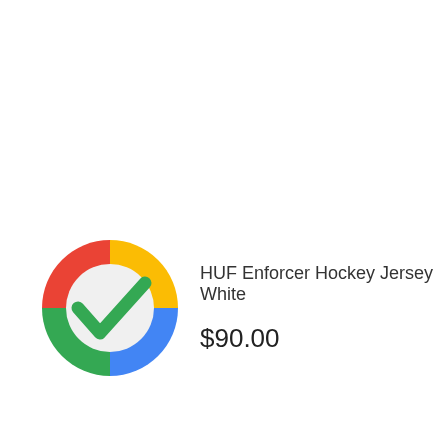[Figure (logo): Colorful circular icon with red, yellow, blue, and green segments and a green checkmark in the center, resembling a Google-style task completion icon]
HUF Enforcer Hockey Jersey White
$90.00